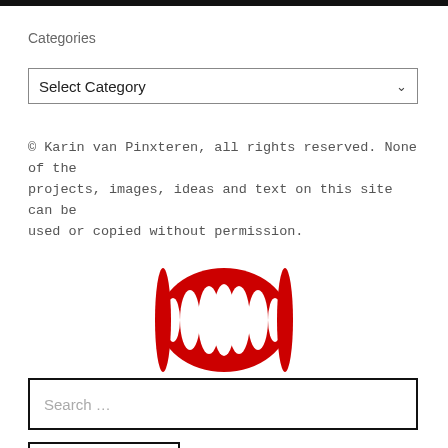Categories
Select Category
© Karin van Pinxteren, all rights reserved. None of the projects, images, ideas and text on this site can be used or copied without permission.
[Figure (logo): Red oval/lantern-shaped logo with white vertical oval cutouts, resembling a barrel or cage shape]
Search …
Search